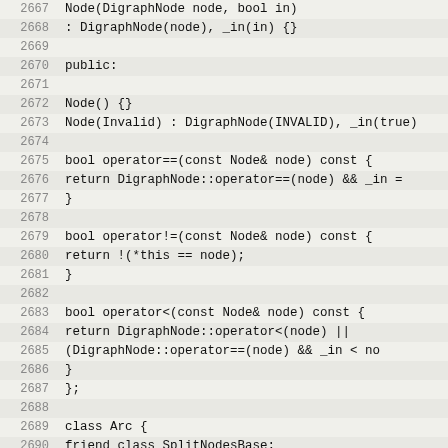[Figure (screenshot): Source code listing (C++) showing lines 2667-2698, displaying Node and Arc class definitions with operators and constructors for a graph library.]